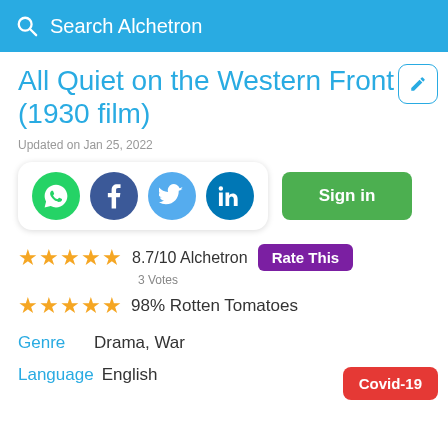Search Alchetron
All Quiet on the Western Front (1930 film)
Updated on Jan 25, 2022
[Figure (infographic): Social share buttons: WhatsApp, Facebook, Twitter, LinkedIn icons in a rounded white card]
Sign in
★★★★★ 8.7/10 Alchetron  Rate This
3 Votes
★★★★★ 98% Rotten Tomatoes
Genre  Drama, War
Language  English
Covid-19